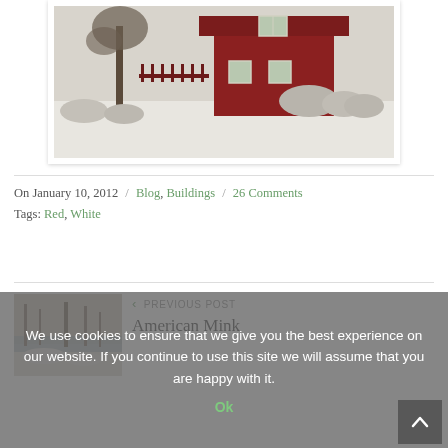[Figure (photo): Photograph of a red Swedish house with white-framed windows, surrounded by frosted/snowy winter landscape with bare trees and shrubs]
On January 10, 2012 / Blog, Buildings / 26 Comments
Tags: Red, White
[Figure (photo): Thumbnail photo of a snowy winter scene near water with bare trees]
< PREVIOUS POST
American Mink
We use cookies to ensure that we give you the best experience on our website. If you continue to use this site we will assume that you are happy with it.
Ok